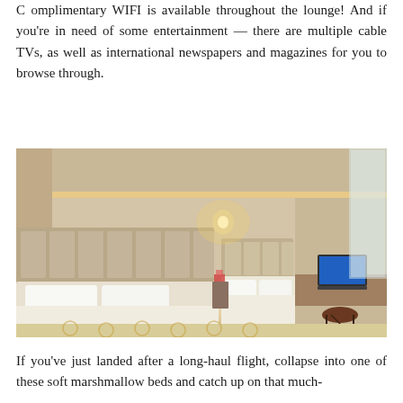Complimentary WIFI is available throughout the lounge! And if you're in need of some entertainment — there are multiple cable TVs, as well as international newspapers and magazines for you to browse through.
[Figure (photo): Hotel room interior with two beds with white bedding, padded headboard, wall sconce lighting, a wooden desk with a laptop, and a patterned carpet with hexagonal motifs.]
If you've just landed after a long-haul flight, collapse into one of these soft marshmallow beds and catch up on that much-